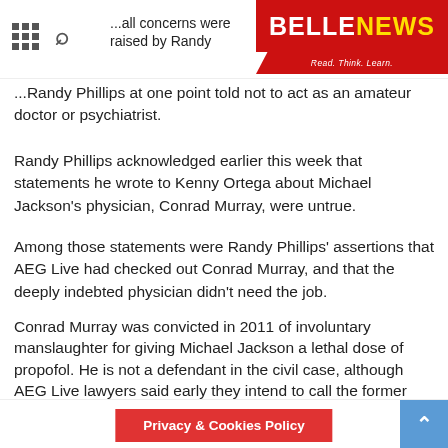BELLE NEWS – Read. Think. Learn.
...all concerns were raised by Randy Phillips at one point told not to act as an amateur doctor or psychiatrist.
Randy Phillips acknowledged earlier this week that statements he wrote to Kenny Ortega about Michael Jackson's physician, Conrad Murray, were untrue.
Among those statements were Randy Phillips' assertions that AEG Live had checked out Conrad Murray, and that the deeply indebted physician didn't need the job.
Conrad Murray was convicted in 2011 of involuntary manslaughter for giving Michael Jackson a lethal dose of propofol. He is not a defendant in the civil case, although AEG Live lawyers said early they intend to call the former cardiologist as a witness.
[youtube 6d8KZZDnGk0]
Privacy & Cookies Policy